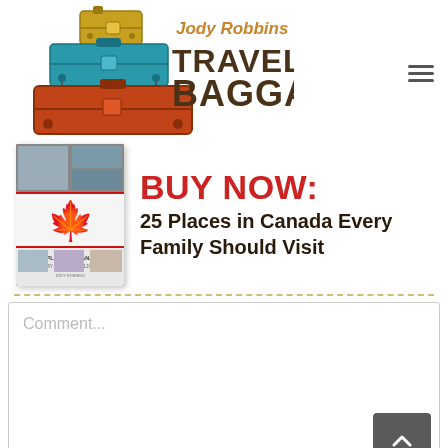[Figure (logo): Jody Robbins Travels with Baggage logo with stacked colorful luggage illustration]
[Figure (infographic): Book promotion banner: BUY NOW: 25 Places in Canada Every Family Should Visit, with book cover image on left]
Comment...
Name (required)